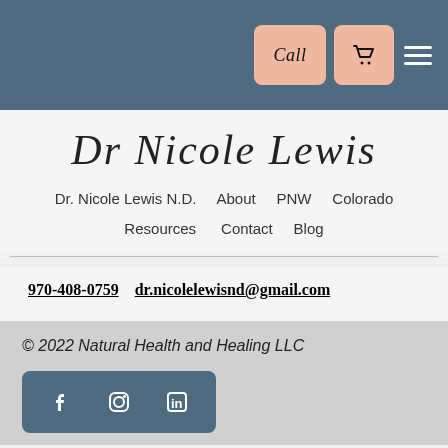Call [cart] [menu]
Dr Nicole Lewis
Dr. Nicole Lewis N.D.   About   PNW   Colorado   Resources   Contact   Blog
970-408-0759   dr.nicolelewisnd@gmail.com
© 2022 Natural Health and Healing LLC